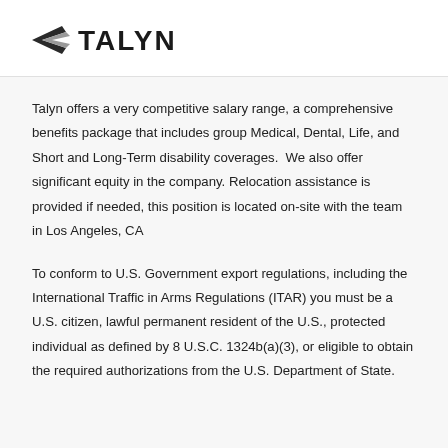[Figure (logo): Talyn company logo with stylized arrow/wing mark and bold TALYN text]
Talyn offers a very competitive salary range, a comprehensive benefits package that includes group Medical, Dental, Life, and Short and Long-Term disability coverages.  We also offer significant equity in the company. Relocation assistance is provided if needed, this position is located on-site with the team in Los Angeles, CA
To conform to U.S. Government export regulations, including the International Traffic in Arms Regulations (ITAR) you must be a U.S. citizen, lawful permanent resident of the U.S., protected individual as defined by 8 U.S.C. 1324b(a)(3), or eligible to obtain the required authorizations from the U.S. Department of State.